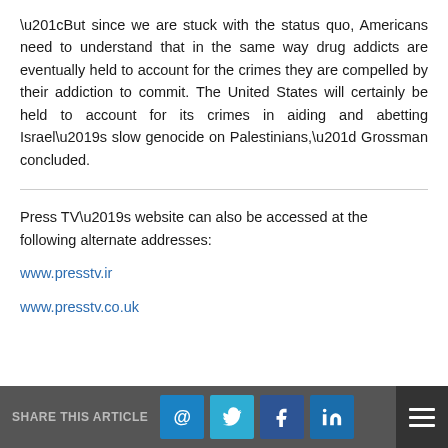“But since we are stuck with the status quo, Americans need to understand that in the same way drug addicts are eventually held to account for the crimes they are compelled by their addiction to commit. The United States will certainly be held to account for its crimes in aiding and abetting Israel’s slow genocide on Palestinians,” Grossman concluded.
Press TV’s website can also be accessed at the following alternate addresses:
www.presstv.ir
www.presstv.co.uk
SHARE THIS ARTICLE